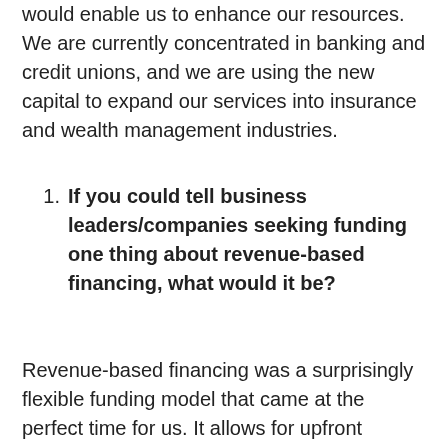would enable us to enhance our resources. We are currently concentrated in banking and credit unions, and we are using the new capital to expand our services into insurance and wealth management industries.
If you could tell business leaders/companies seeking funding one thing about revenue-based financing, what would it be?
Revenue-based financing was a surprisingly flexible funding model that came at the perfect time for us. It allows for upfront funding and owners